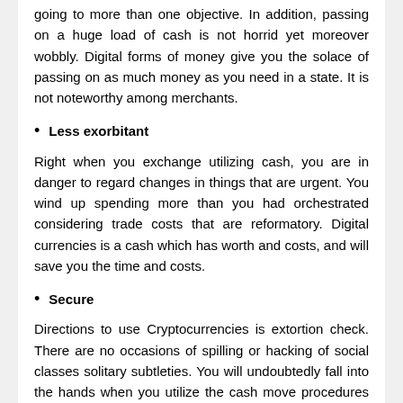going to more than one objective. In addition, passing on a huge load of cash is not horrid yet moreover wobbly. Digital forms of money give you the solace of passing on as much money as you need in a state. It is not noteworthy among merchants.
Less exorbitant
Right when you exchange utilizing cash, you are in danger to regard changes in things that are urgent. You wind up spending more than you had orchestrated considering trade costs that are reformatory. Digital currencies is a cash which has worth and costs, and will save you the time and costs.
Secure
Directions to use Cryptocurrencies is extortion check. There are no occasions of spilling or hacking of social classes solitary subtleties. You will undoubtedly fall into the hands when you utilize the cash move procedures abroad. With